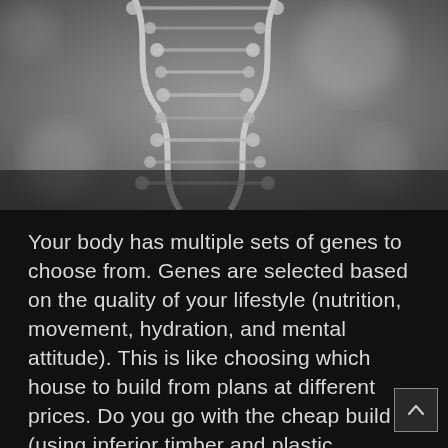[Figure (photo): Black and white close-up photograph of a DNA double helix structure against a blurred bokeh background]
Your body has multiple sets of genes to choose from. Genes are selected based on the quality of your lifestyle (nutrition, movement, hydration, and mental attitude). This is like choosing which house to build from plans at different prices. Do you go with the cheap build (using inferior timber and plastic windows) or will you choose the luxury option with all the best fixtures and fittings?